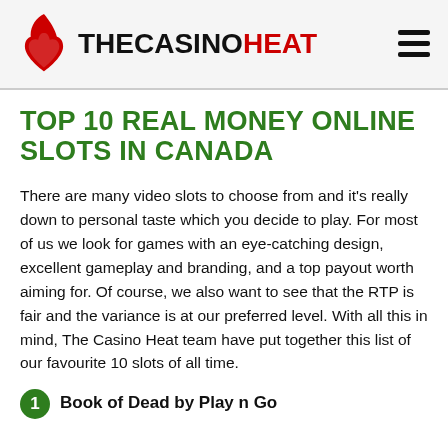THECASINOHEAT
TOP 10 REAL MONEY ONLINE SLOTS IN CANADA
There are many video slots to choose from and it's really down to personal taste which you decide to play. For most of us we look for games with an eye-catching design, excellent gameplay and branding, and a top payout worth aiming for. Of course, we also want to see that the RTP is fair and the variance is at our preferred level. With all this in mind, The Casino Heat team have put together this list of our favourite 10 slots of all time.
1. Book of Dead by Play n Go